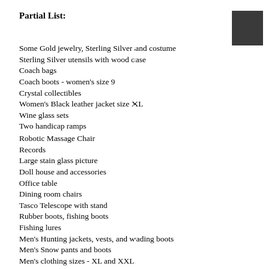Partial List:
Some Gold jewelry, Sterling Silver and costume
Sterling Silver utensils with wood case
Coach bags
Coach boots - women's size 9
Crystal collectibles
Women's Black leather jacket size XL
Wine glass sets
Two handicap ramps
Robotic Massage Chair
Records
Large stain glass picture
Doll house and accessories
Office table
Dining room chairs
Tasco Telescope with stand
Rubber boots, fishing boots
Fishing lures
Men's Hunting jackets, vests, and wading boots
Men's Snow pants and boots
Men's clothing sizes - XL and XXL
Dress shirts, button shirts, t-shirts, pants, jackets, coats